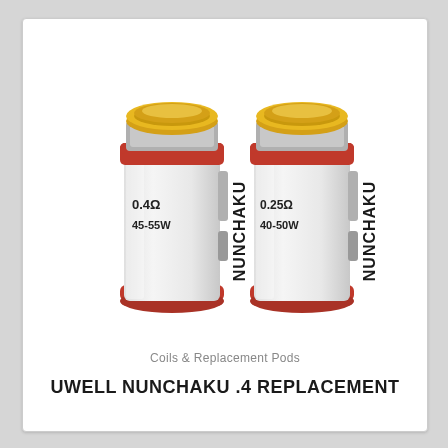[Figure (photo): Two Uwell Nunchaku replacement coils side by side. Left coil: 0.4Ω 45-55W, Right coil: 0.25Ω 40-50W. Both have silver cylindrical bodies with red rubber O-rings at top and bottom, a gold/brass top contact, and 'NUNCHAKU' text printed vertically on the body.]
Coils & Replacement Pods
UWELL NUNCHAKU .4 REPLACEMENT